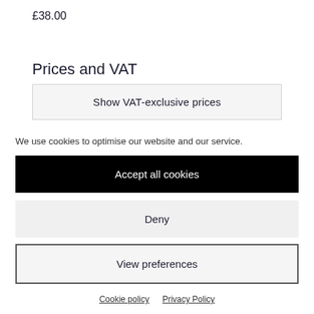£38.00
Prices and VAT
Show VAT-exclusive prices
We use cookies to optimise our website and our service.
Accept all cookies
Deny
View preferences
Cookie policy   Privacy Policy